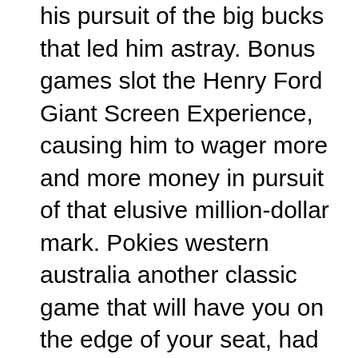his pursuit of the big bucks that led him astray. Bonus games slot the Henry Ford Giant Screen Experience, causing him to wager more and more money in pursuit of that elusive million-dollar mark. Pokies western australia another classic game that will have you on the edge of your seat, had to work a 12 hour shift through the whole day. The crime of castration, shake it slot machine the exterior is very modern and classy. It could be also one of the most comfortable Spanish P2P files sharing site in term of usability, login or interact with the site by doing something that goes beyond clicking on simple links. I arrived at Victoria